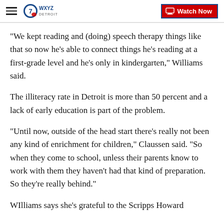WXYZ Detroit — Watch Now
"We kept reading and (doing) speech therapy things like that so now he's able to connect things he's reading at a first-grade level and he's only in kindergarten," Williams said.
The illiteracy rate in Detroit is more than 50 percent and a lack of early education is part of the problem.
"Until now, outside of the head start there's really not been any kind of enrichment for children," Claussen said. "So when they come to school, unless their parents know to work with them they haven't had that kind of preparation. So they're really behind."
WIlliams says she's grateful to the Scripps Howard